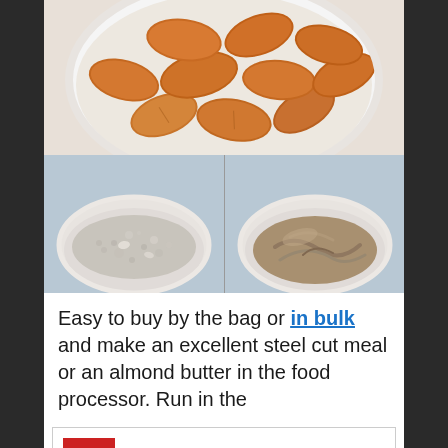[Figure (photo): Top panel: white bowl filled with whole raw almonds on a light background. Bottom left: small white bowl with ground almond powder/flour. Bottom right: small white bowl with almond butter (creamy, spread consistency).]
Easy to buy by the bag or in bulk and make an excellent steel cut meal or an almond butter in the food processor. Run in the
[Figure (infographic): Advertisement banner for Office Depot: 'Shop High Quality Printer Ink' with Office Depot logo (red square), blue navigation arrow icon, and ad controls (play triangle and close X icons).]